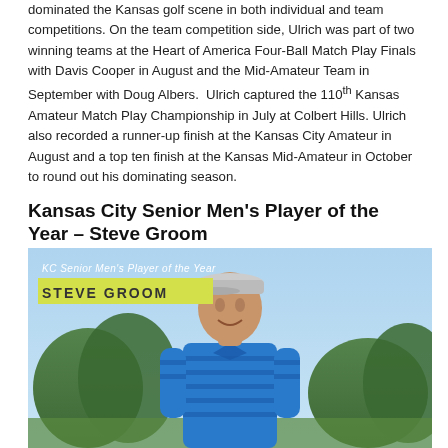dominated the Kansas golf scene in both individual and team competitions. On the team competition side, Ulrich was part of two winning teams at the Heart of America Four-Ball Match Play Finals with Davis Cooper in August and the Mid-Amateur Team in September with Doug Albers. Ulrich captured the 110th Kansas Amateur Match Play Championship in July at Colbert Hills. Ulrich also recorded a runner-up finish at the Kansas City Amateur in August and a top ten finish at the Kansas Mid-Amateur in October to round out his dominating season.
Kansas City Senior Men's Player of the Year – Steve Groom
[Figure (photo): Photo of Steve Groom, an older man wearing a blue striped polo shirt and a golf cap, smiling outdoors with trees and sky in the background. Overlay text reads 'KC Senior Men's Player of the Year' and 'STEVE GROOM' on a yellow-green banner.]